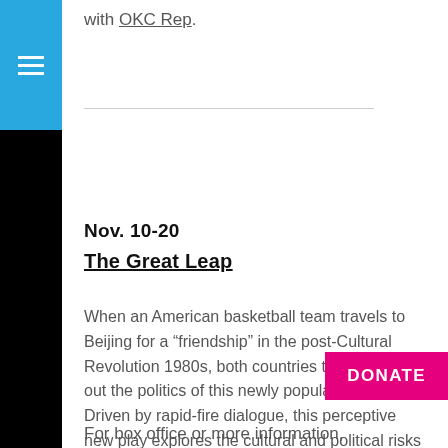with OKC Rep.
Nov. 10-20
The Great Leap
When an American basketball team travels to Beijing for a “friendship” in the post-Cultural Revolution 1980s, both countries try to tease out the politics of this newly popular sport. Driven by rapid-fire dialogue, this perceptive new play explores the cultural and political risks of raising your voice and standing your ground. Presented in partnership with OKC Rep.
DONATE
For box office or more information,